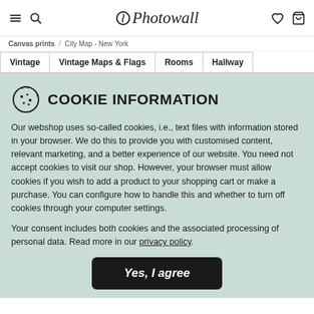Photowall — navigation header with menu, search, wishlist, cart icons
Canvas prints / City Map - New York
Vintage | Vintage Maps & Flags | Rooms | Hallway
COOKIE INFORMATION
Our webshop uses so-called cookies, i.e., text files with information stored in your browser. We do this to provide you with customised content, relevant marketing, and a better experience of our website. You need not accept cookies to visit our shop. However, your browser must allow cookies if you wish to add a product to your shopping cart or make a purchase. You can configure how to handle this and whether to turn off cookies through your computer settings.
Your consent includes both cookies and the associated processing of personal data. Read more in our privacy policy.
Yes, I agree